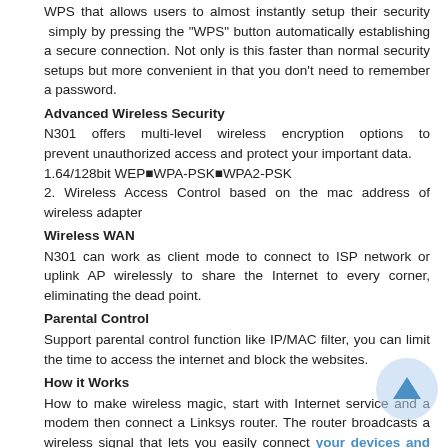WPS that allows users to almost instantly setup their security simply by pressing the "WPS" button automatically establishing a secure connection. Not only is this faster than normal security setups but more convenient in that you don't need to remember a password.
Advanced Wireless Security
N301 offers multi-level wireless encryption options to prevent unauthorized access and protect your important data.
1.64/128bit WEP■WPA-PSK■WPA2-PSK
2. Wireless Access Control based on the mac address of wireless adapter
Wireless WAN
N301 can work as client mode to connect to ISP network or uplink AP wirelessly to share the Internet to every corner, eliminating the dead point.
Parental Control
Support parental control function like IP/MAC filter, you can limit the time to access the internet and block the websites.
How it Works
How to make wireless magic, start with Internet service and a modem then connect a Linksys router. The router broadcasts a wireless signal that lets you easily connect your devices and smart appliances.
Specifications
Hardware Features
Compliant Standard    IEEE 802.3/3U IEEE 802.11n/g/b